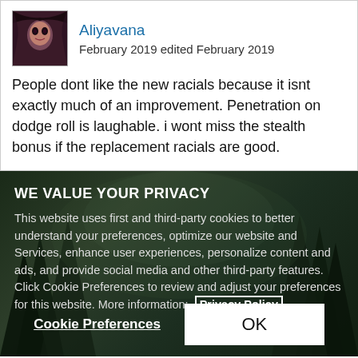[Figure (photo): Avatar image of user Aliyavana - fantasy character portrait with dark hair and dramatic makeup]
Aliyavana
February 2019 edited February 2019
People dont like the new racials because it isnt exactly much of an improvement. Penetration on dodge roll is laughable. i wont miss the stealth bonus if the replacement racials are good.
WE VALUE YOUR PRIVACY
This website uses first and third-party cookies to better understand your preferences, optimize our website and Services, enhance user experiences, personalize content and ads, and provide social media and other third-party features. Click Cookie Preferences to review and adjust your preferences for this website. More information:  Privacy Policy
Cookie Preferences
OK